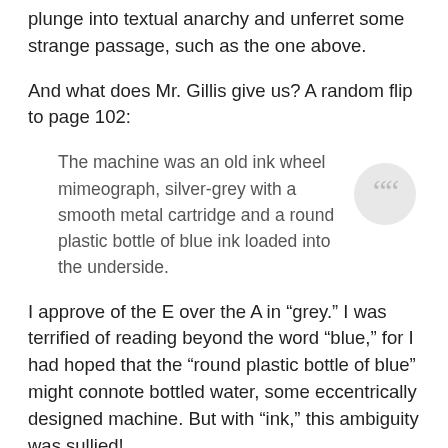plunge into textual anarchy and unferret some strange passage, such as the one above.
And what does Mr. Gillis give us? A random flip to page 102:
The machine was an old ink wheel mimeograph, silver-grey with a smooth metal cartridge and a round plastic bottle of blue ink loaded into the underside.
I approve of the E over the A in “grey.” I was terrified of reading beyond the word “blue,” for I had hoped that the “round plastic bottle of blue” might connote bottled water, some eccentrically designed machine. But with “ink,” this ambiguity was sullied!
The unabridged points out that the word “…”